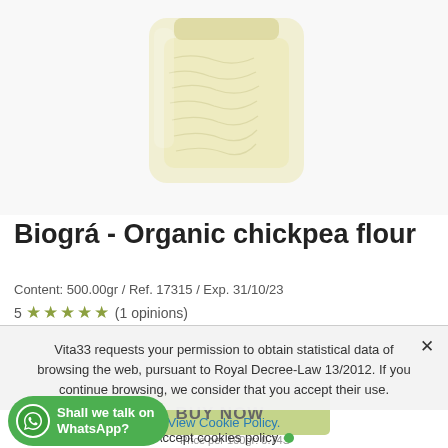[Figure (photo): Product photo of a plastic bag containing organic chickpea flour, pale yellow in color, on white background]
Biográ - Organic chickpea flour
Content: 500.00gr / Ref. 17315 / Exp. 31/10/23
5 ★★★★★ (1 opinions)
Vita33 requests your permission to obtain statistical data of browsing the web, pursuant to Royal Decree-Law 13/2012. If you continue browsing, we consider that you accept their use.
View Cookie Policy.
Accept cookies policy
BUY NOW
Shall we talk on WhatsApp?
Price per 100gr: 0.74S